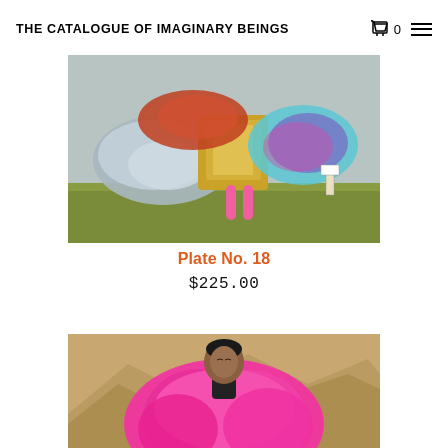THE CATALOGUE OF IMAGINARY BEINGS
[Figure (photo): Collage artwork showing abstract mineral/rock formations with shiny metallic textures (silver, gold, iridescent blue-pink) with pink legs, floating above a prairie landscape with green grass and overcast sky. Artwork for Plate No. 18.]
Plate No. 18
$225.00
[Figure (photo): Collage artwork showing a woman's head (black hair, eyes closed, dark turtleneck) emerging from a large bright pink floral/ruffled skirt or cloud shape, set against a sepia-toned vintage photo background of mountains. Partially visible, cropped at bottom.]